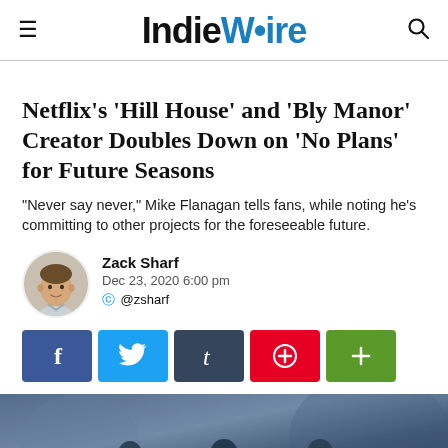IndieWire
Netflix's 'Hill House' and 'Bly Manor' Creator Doubles Down on 'No Plans' for Future Seasons
"Never say never," Mike Flanagan tells fans, while noting he's committing to other projects for the foreseeable future.
Zack Sharf
Dec 23, 2020 6:00 pm
@zsharf
[Figure (infographic): Social share buttons: Facebook (blue), Twitter (light blue), Tumblr (dark blue/slate), Pinterest (red), More (green)]
[Figure (photo): Photo of cast members from Netflix show, dark moody blue-toned image showing silhouettes/heads of multiple people]